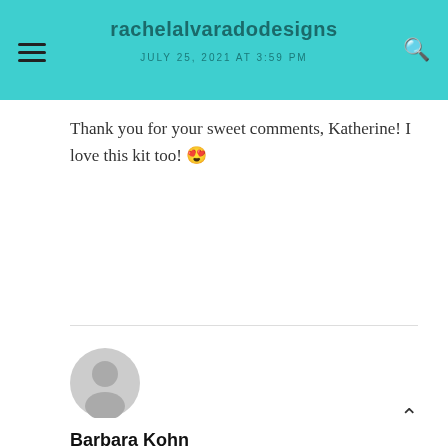rachelalvaradodesigns JULY 25, 2021 AT 3:59 PM
Thank you for your sweet comments, Katherine! I love this kit too! 😍
Barbara Kohn
JULY 25, 2021 AT 1:38 PM
I adore the bright colors and kit content to make great cards for everyone on my list!